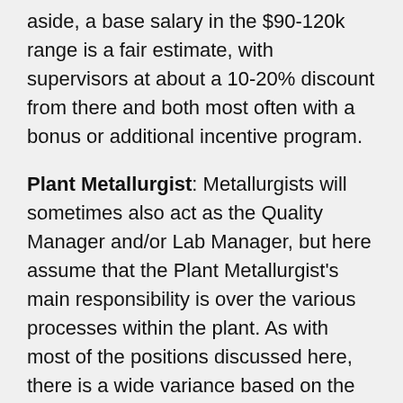aside, a base salary in the $90-120k range is a fair estimate, with supervisors at about a 10-20% discount from there and both most often with a bonus or additional incentive program.
Plant Metallurgist: Metallurgists will sometimes also act as the Quality Manager and/or Lab Manager, but here assume that the Plant Metallurgist's main responsibility is over the various processes within the plant. As with most of the positions discussed here, there is a wide variance based on the employee's qualifications, skills, and experience. A recently degreed process engineer acting as a plant metallurgist will obviously earn less than a seasoned metallurgist who oversees his company's lab and testing.